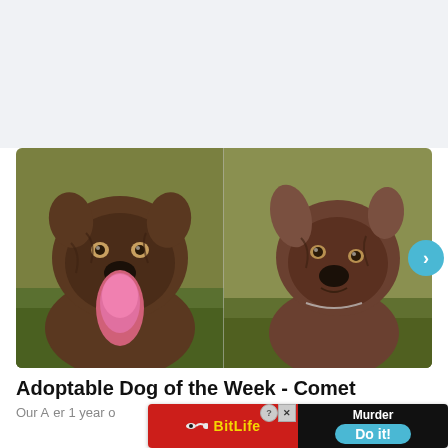[Figure (photo): Two side-by-side photos of brindle/brown mixed-breed dogs. Left dog has tongue out and is facing camera. Right dog is sitting and looking at camera with head tilted slightly.]
Adoptable Dog of the Week - Comet
Our A... er 1 year o...
[Figure (advertisement): BitLife mobile game advertisement with red left panel showing BitLife logo with sperm icon, and dark right panel showing 'Murder' label and 'Do it!' cyan button. Help and close X icons at top right of ad.]